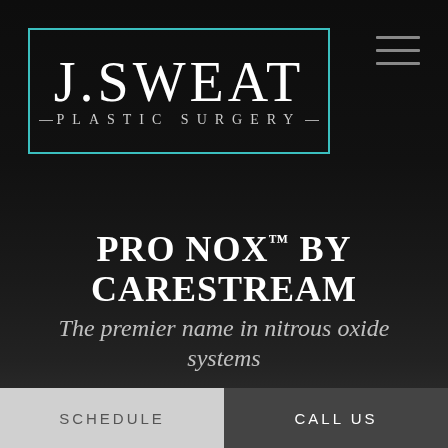[Figure (logo): J. Sweat Plastic Surgery logo — white serif text in a teal-bordered rectangle on dark background]
PRO NOX™ BY CARESTREAM
The premier name in nitrous oxide systems
SCHEDULE
CALL US